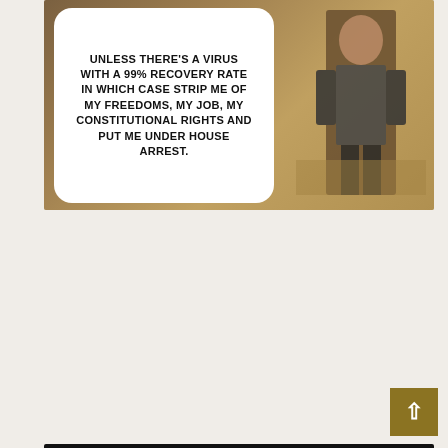[Figure (photo): Meme: Comic-style speech bubble on illustrated background reading 'UNLESS THERE'S A VIRUS WITH A 99% RECOVERY RATE IN WHICH CASE STRIP ME OF MY FREEDOMS, MY JOB, MY CONSTITUTIONAL RIGHTS AND PUT ME UNDER HOUSE ARREST.']
[Figure (photo): Meme: Black background with Anchorman screenshot on left, milk carton on right labeled MISSING with THE FLU AND THE COL[D]. Text reads 'SEARCH CONTINUES FOR THE TWO MISSING VIRUSES THAT HAVE SUDDENLY DISAPPEARED AFTER 100+ OF YEARS']